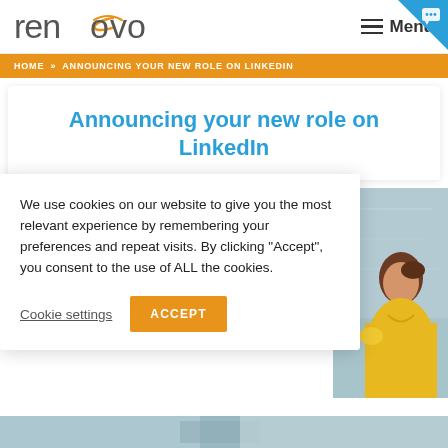[Figure (logo): Renovo logo with orange swoosh accent over the letter O]
Menu
HOME » ANNOUNCING YOUR NEW ROLE ON LINKEDIN
Announcing your new role on LinkedIn
We use cookies on our website to give you the most relevant experience by remembering your preferences and repeat visits. By clicking “Accept”, you consent to the use of ALL the cookies.
Cookie settings
ACCEPT
[Figure (photo): Woman in yellow top looking to the side, background teal/blue wall]